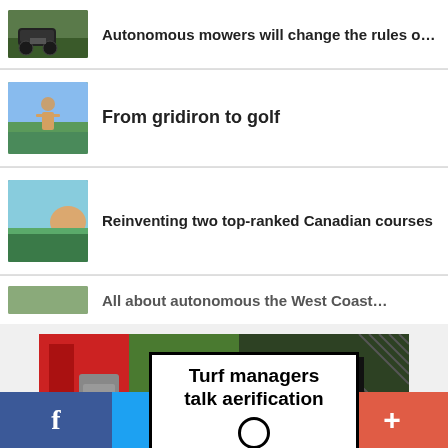Autonomous mowers will change the rules o…
From gridiron to golf
Reinventing two top-ranked Canadian courses
All about autonomous the West Coast…
[Figure (photo): Promotional banner with aerification equipment image and text overlay reading 'Turf managers talk aerification' with a 'READ NOW' call-to-action button]
f   Twitter bird icon   Mail icon   +